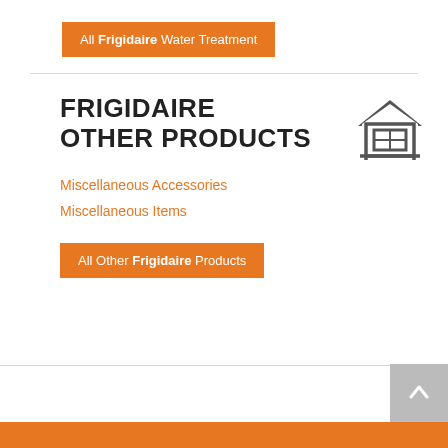All Frigidaire Water Treatment
FRIGIDAIRE OTHER PRODUCTS
Miscellaneous Accessories
Miscellaneous Items
All Other Frigidaire Products